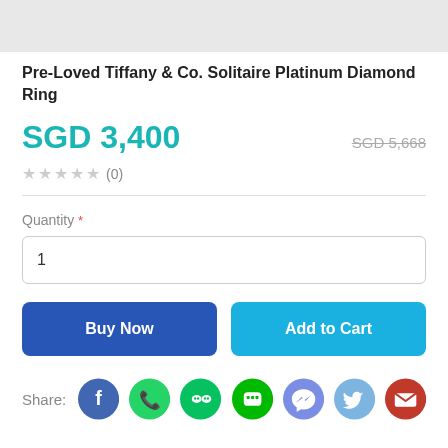[Figure (photo): Partial product image at the top of the page (cropped)]
Pre-Loved Tiffany & Co. Solitaire Platinum Diamond Ring
SGD 3,400  SGD 5,668
★★★★★ (0)
Quantity *
1
Buy Now
Add to Cart
Share: